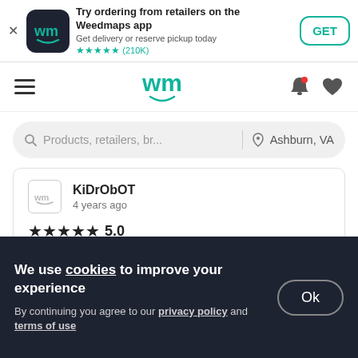[Figure (screenshot): Weedmaps app install banner with app icon, title 'Try ordering from retailers on the Weedmaps app', subtitle 'Get delivery or reserve pickup today', 5-star rating (210K reviews), and GET button]
[Figure (screenshot): Weedmaps website navigation bar with hamburger menu, wm logo, bell and heart icons]
[Figure (screenshot): Search bar with placeholder 'Products, retailers, br...' and location 'Ashburn, VA']
KiDrObOT
4 years ago
★★★★★ 5.0
So amazing again and again!
We use cookies to improve your experience
By continuing you agree to our privacy policy and terms of use